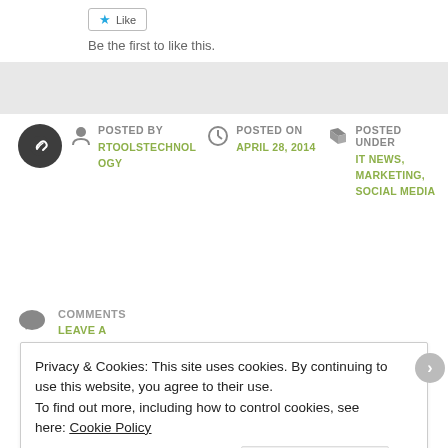Be the first to like this.
POSTED BY RTOOLSTECHNOLOGY
POSTED ON APRIL 28, 2014
POSTED UNDER IT NEWS, MARKETING, SOCIAL MEDIA
COMMENTS
LEAVE A
Privacy & Cookies: This site uses cookies. By continuing to use this website, you agree to their use. To find out more, including how to control cookies, see here: Cookie Policy
Close and accept